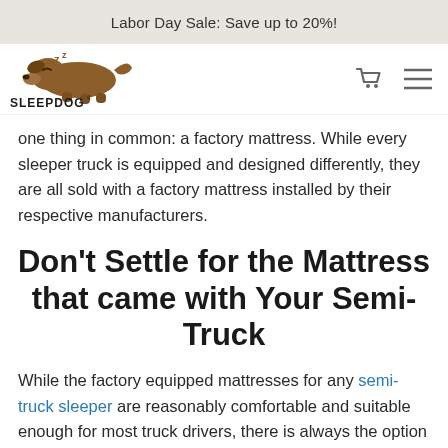Labor Day Sale: Save up to 20%!
[Figure (logo): SleepDog brand logo with a sleeping dog illustration and the text SLEEPDOG]
one thing in common: a factory mattress. While every sleeper truck is equipped and designed differently, they are all sold with a factory mattress installed by their respective manufacturers.
Don't Settle for the Mattress that came with Your Semi-Truck
While the factory equipped mattresses for any semi-truck sleeper are reasonably comfortable and suitable enough for most truck drivers, there is always the option of upgrading and replacing the factory mattress for those